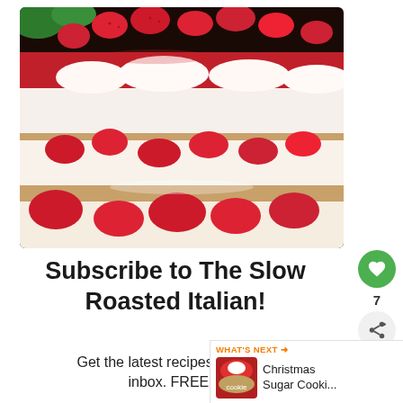[Figure (photo): Close-up photo of a strawberry layer cake or icebox cake with cream layers, fresh sliced strawberries between layers and piled on top, on a dark surface]
Subscribe to The Slow Roasted Italian!
Get the latest recipes straight to your inbox. FREE!!!
[Figure (photo): Small thumbnail of a Christmas Sugar Cookie cake/dessert for 'What's Next' promotional link]
WHAT'S NEXT → Christmas Sugar Cooki...